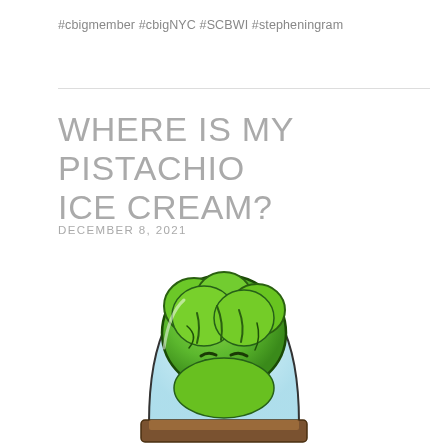#cbigmember #cbigNYC #SCBWI #stepheningram
WHERE IS MY PISTACHIO ICE CREAM?
DECEMBER 8, 2021
[Figure (illustration): A cartoon illustration of an angry green pistachio ice cream scoop character with a frowning face, enclosed in a glass dome, sitting on a brown base. The character has a lumpy green texture with dark outlines and a light blue tint on the dome.]